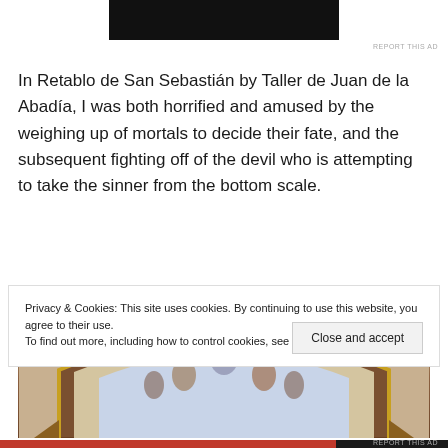[Figure (other): Black advertisement banner at top center]
REPORT THIS AD
In Retablo de San Sebastián by Taller de Juan de la Abadía, I was both horrified and amused by the weighing up of mortals to decide their fate, and the subsequent fighting off of the devil who is attempting to take the sinner from the bottom scale.
[Figure (photo): Detail of a religious altarpiece painting (retablo) showing an arched painted panel with figures including a crucifixion scene, with ornate gold framing.]
Privacy & Cookies: This site uses cookies. By continuing to use this website, you agree to their use.
To find out more, including how to control cookies, see here: Cookie Policy
REPORT THIS AD